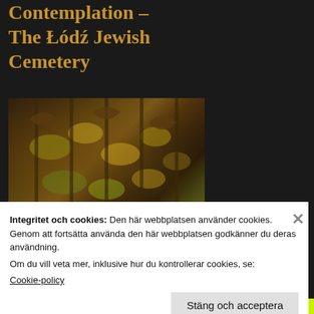Contemplation – The Łódź Jewish Cemetery
[Figure (photo): Close-up photograph of ornate rusty iron gate or fence with autumn leaves, dark brown and golden tones]
Why do I find such peace and mindfulness
Integritet och cookies: Den här webbplatsen använder cookies. Genom att fortsätta använda den här webbplatsen godkänner du deras användning.
Om du vill veta mer, inklusive hur du kontrollerar cookies, se:
Cookie-policy
Stäng och acceptera